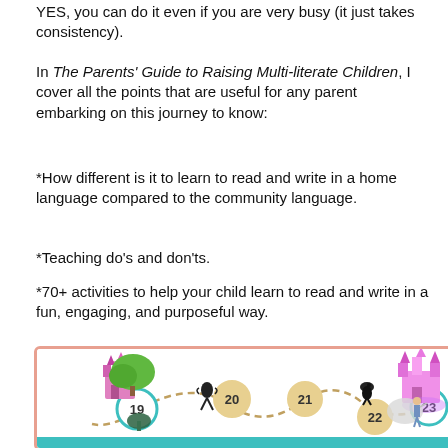YES, you can do it even if you are very busy (it just takes consistency).
In The Parents' Guide to Raising Multi-literate Children, I cover all the points that are useful for any parent embarking on this journey to know:
*How different is it to learn to read and write in a home language compared to the community language.
*Teaching do's and don'ts.
*70+ activities to help your child learn to read and write in a fun, engaging, and purposeful way.
[Figure (illustration): A game board-style illustration with numbered circles (19, 20, 21, 22, 23) connected by dashed paths, featuring fantasy characters and castles.]